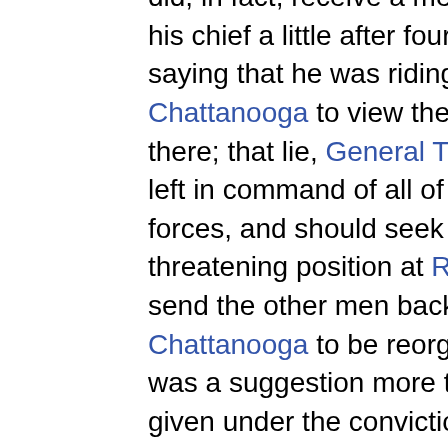did, in fact, receive a message from his chief a little after four o'clock, saying that he was riding to Chattanooga to view the position there; that lie, General Thomas, was left in command of all of the organized forces, and should seek strong and threatening position at Rossville, and send the other men back to Chattanooga to be reorganized. This was a suggestion more than an order, given under the conviction that the Confederates, having the Dry Valley road, would pass the ridge to the west side, cut General Thomas off, and strike his rear at pleasure. The order to command of the troops in action, and the conditions referring to duties at Chattanooga, carried